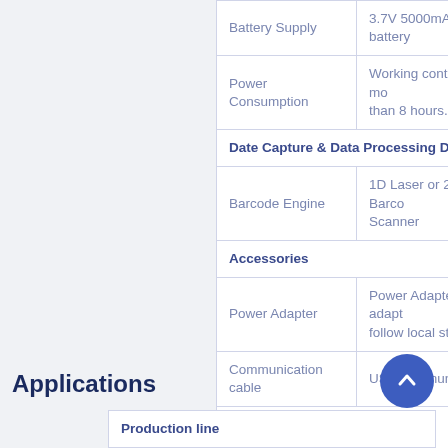| Specification | Value |
| --- | --- |
| Battery Supply | 3.7V 5000mAh Li-ion battery |
| Power Consumption | Working continuously for more than 8 hours. |
| Date Capture & Data Processing Devices |  |
| Barcode Engine | 1D Laser or 2D Imager Barcode Scanner |
| Accessories |  |
| Power Adapter | Power Adapter: DC 5V adapt follow local standards |
| Communication cable | USB communication cable |
|  |  |
Applications
| Production line |  |